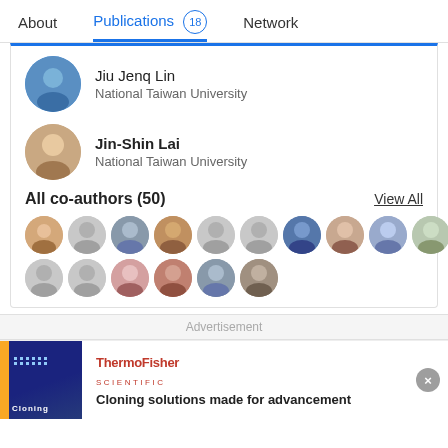About  Publications 18  Network
Jiu Jenq Lin
National Taiwan University
Jin-Shin Lai
National Taiwan University
All co-authors (50)
View All
[Figure (photo): Grid of co-author profile photos and placeholder avatars, two rows of 10 and 6 icons]
Advertisement
[Figure (photo): ThermoFisher Scientific advertisement banner with cloning image and text 'Cloning solutions made for advancement']